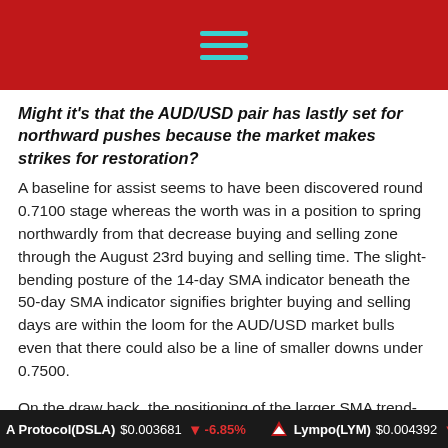[Figure (other): Red navigation header bar with teal hamburger menu icon (three horizontal lines)]
Might it's that the AUD/USD pair has lastly set for northward pushes because the market makes strikes for restoration?
A baseline for assist seems to have been discovered round 0.7100 stage whereas the worth was in a position to spring northwardly from that decrease buying and selling zone through the August 23rd buying and selling time. The slight-bending posture of the 14-day SMA indicator beneath the 50-day SMA indicator signifies brighter buying and selling days are within the loom for the AUD/USD market bulls even that there could also be a line of smaller downs under 0.7500.
On the draw back, the positioning of the larger SMA trend-line across the stage of 0.7500 signifies that the forex pair market will encounter a resistant buying and selling state of affairs within the above mentioned of a number...
A Protocol(DSLA) $0.003681 ▼ -6.85%   Lympo(LYM) $0.004392 ▼